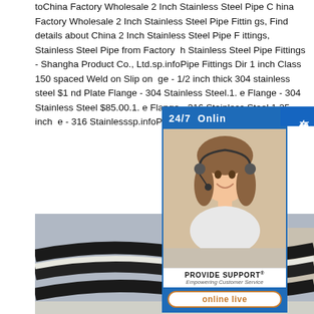toChina Factory Wholesale 2 Inch Stainless Steel Pipe China Factory Wholesale 2 Inch Stainless Steel Pipe Fittings, Find details about China 2 Inch Stainless Steel Pipe Fittings, Stainless Steel Pipe from Factory Wholesale 2 Inch Stainless Steel Pipe Fittings - Shanghai Product Co., Ltd.sp.infoPipe Fittings Direct 1 inch Class 150 spaced Weld on Slip on Flange - 1/2 inch thick 304 stainless steel $1… nd Plate Flange - 304 Stainless Steel.1.2… e Flange - 304 Stainless Steel $85.00.1.… e Flange - 316 Stainless Steel.1.25 inch … e - 316 Stainlesssp.infoPipe Fittings Direct.Plate Flanges
[Figure (other): Live chat support widget showing a woman with headset, '24/7 Online' header, PROVIDE SUPPORT brand, and 'online live' button, with Chinese side tab '在线咨询']
[Figure (photo): Photo of stainless steel pipes/sheets viewed from above showing curved dark metal surfaces]